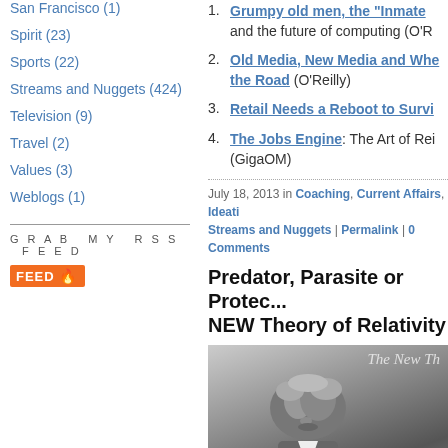San Francisco (1)
Spirit (23)
Sports (22)
Streams and Nuggets (424)
Television (9)
Travel (2)
Values (3)
Weblogs (1)
GRAB MY RSS FEED
FEED
1. Grumpy old men, the "Inmate... and the future of computing (O'R...
2. Old Media, New Media and Whe... the Road (O'Reilly)
3. Retail Needs a Reboot to Survi...
4. The Jobs Engine: The Art of Rei... (GigaOM)
July 18, 2013 in Coaching, Current Affairs, Ideati... Streams and Nuggets | Permalink | 0 Comments
Predator, Parasite or Protec... NEW Theory of Relativity
[Figure (photo): Black and white photo of Albert Einstein, partially cropped, with text 'The New Th...' visible on a chalkboard in the background]